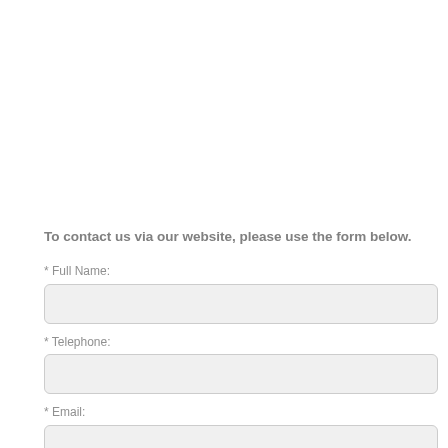To contact us via our website, please use the form below.
* Full Name:
* Telephone:
* Email:
* Message: